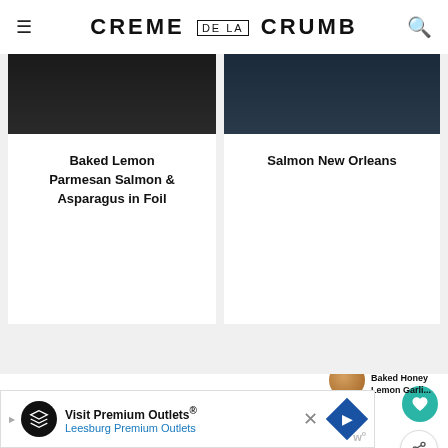CREME DE LA CRUMB
Baked Lemon Parmesan Salmon & Asparagus in Foil
Salmon New Orleans
Leave a Review!
I love hearing from you! Submit your question or review below.
Your email address will not be published. Required fields are marked*.
WHAT'S NEXT → Baked Honey Lemon Garli...
Visit Premium Outlets® Leesburg Premium Outlets